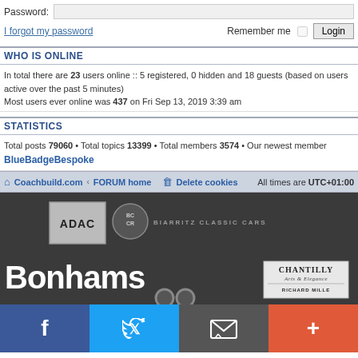Password:
I forgot my password   Remember me   Login
WHO IS ONLINE
In total there are 23 users online :: 5 registered, 0 hidden and 18 guests (based on users active over the past 5 minutes)
Most users ever online was 437 on Fri Sep 13, 2019 3:39 am
STATISTICS
Total posts 79060 • Total topics 13399 • Total members 3574 • Our newest member BlueBadgeBespoke
Coachbuild.com < FORUM home   Delete cookies   All times are UTC+01:00
[Figure (photo): Advertisement banner for Bonhams auction house with ADAC and Biarritz Classic Cars logos and Chantilly Arts & Elegance Richard Mille branding on dark background]
[Figure (infographic): Social media share bar with Facebook (blue), Twitter (blue), email/envelope (grey), and plus/more (orange-red) buttons]